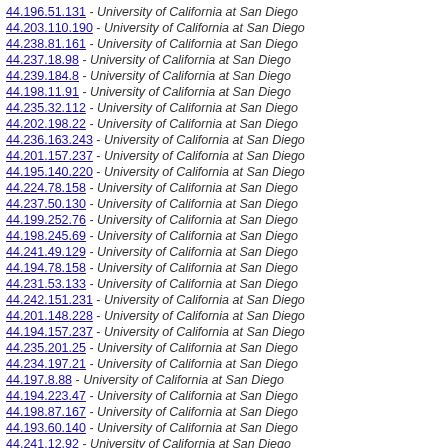44.196.51.131 - University of California at San Diego
44.203.110.190 - University of California at San Diego
44.238.81.161 - University of California at San Diego
44.237.18.98 - University of California at San Diego
44.239.184.8 - University of California at San Diego
44.198.11.91 - University of California at San Diego
44.235.32.112 - University of California at San Diego
44.202.198.22 - University of California at San Diego
44.236.163.243 - University of California at San Diego
44.201.157.237 - University of California at San Diego
44.195.140.220 - University of California at San Diego
44.224.78.158 - University of California at San Diego
44.237.50.130 - University of California at San Diego
44.199.252.76 - University of California at San Diego
44.198.245.69 - University of California at San Diego
44.241.49.129 - University of California at San Diego
44.194.78.158 - University of California at San Diego
44.231.53.133 - University of California at San Diego
44.242.151.231 - University of California at San Diego
44.201.148.228 - University of California at San Diego
44.194.157.237 - University of California at San Diego
44.235.201.25 - University of California at San Diego
44.234.197.21 - University of California at San Diego
44.197.8.88 - University of California at San Diego
44.194.223.47 - University of California at San Diego
44.198.87.167 - University of California at San Diego
44.193.60.140 - University of California at San Diego
44.241.12.92 - University of California at San Diego
44.197.71.151 - University of California at San Diego
44.194.107.187 - University of California at San Diego